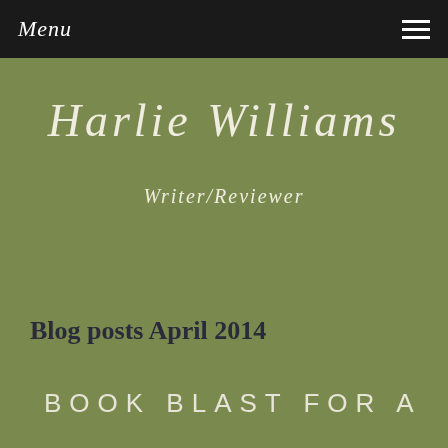Menu
Harlie Williams
Writer/Reviewer
Blog posts April 2014
BOOK BLAST FOR A
SECRET WORTHKEEPING